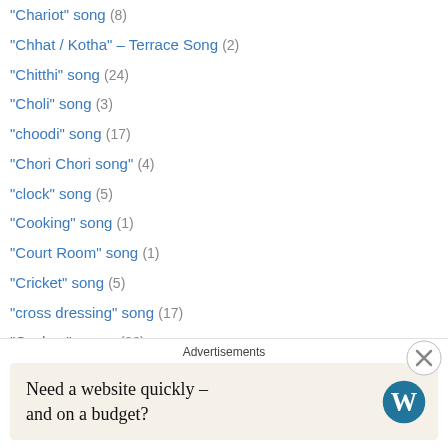"Chariot" song (8)
"Chhat / Kotha" – Terrace Song (2)
"Chitthi" song (24)
"Choli" song (3)
"choodi" song (17)
"Chori Chori song" (4)
"clock" song (5)
"Cooking" song (1)
"Court Room" song (1)
"Cricket" song (5)
"cross dressing" song (17)
"Cuckoo" songs (36)
"Dance under duress" song (11)
"Date" song (2)
"deewaali" song (1)
"Defiance" song (6)
Advertisements
Need a website quickly – and on a budget?